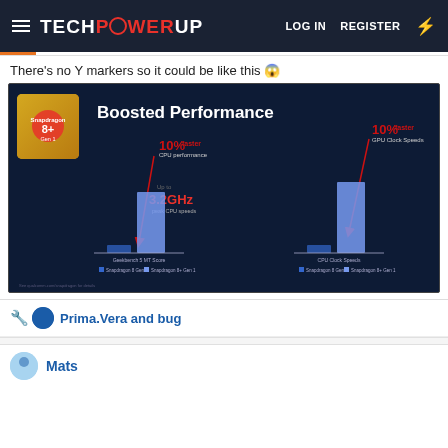TECHPOWERUP | LOG IN | REGISTER
There's no Y markers so it could be like this 😱
[Figure (bar-chart): Snapdragon 8+ Gen 1 Boosted Performance bar chart showing two comparisons: Geekbench 5 MT Score (10% faster CPU performance, Up to 3.2GHz peak CPU speeds) and CPU Clock Speeds (10% faster GPU Clock Speeds). Each comparison shows two bars: Snapdragon 8 Gen 1 (small) vs Snapdragon 8+ Gen 1 (large).]
Prima.Vera and bug
Mats